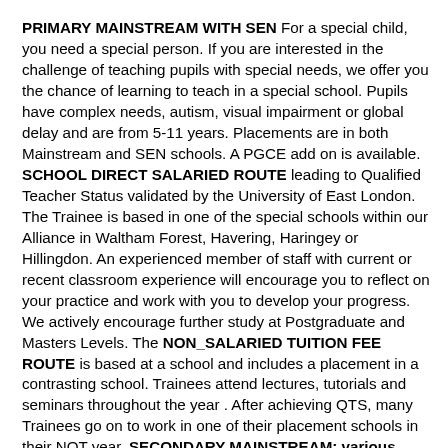PRIMARY MAINSTREAM WITH SEN For a special child, you need a special person. If you are interested in the challenge of teaching pupils with special needs, we offer you the chance of learning to teach in a special school. Pupils have complex needs, autism, visual impairment or global delay and are from 5-11 years. Placements are in both Mainstream and SEN schools. A PGCE add on is available. SCHOOL DIRECT SALARIED ROUTE leading to Qualified Teacher Status validated by the University of East London. The Trainee is based in one of the special schools within our Alliance in Waltham Forest, Havering, Haringey or Hillingdon. An experienced member of staff with current or recent classroom experience will encourage you to reflect on your practice and work with you to develop your progress. We actively encourage further study at Postgraduate and Masters Levels. The NON_SALARIED TUITION FEE ROUTE is based at a school and includes a placement in a contrasting school. Trainees attend lectures, tutorials and seminars throughout the year . After achieving QTS, many Trainees go on to work in one of their placement schools in their NQT year. SECONDARY MAINSTREAM: various subjects We have places for the sciences, maths, history and English, based in a